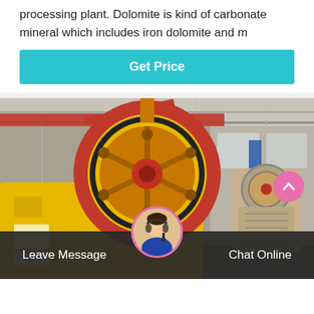processing plant. Dolomite is kind of carbonate mineral which includes iron dolomite and m
Get Price
[Figure (photo): Industrial jaw crusher machines in a large factory warehouse. Large yellow jaw crusher with red and black flywheel in foreground, another crusher visible in background. Red overhead crane beams visible at top, steel roof structure visible.]
Leave Message
Chat Online